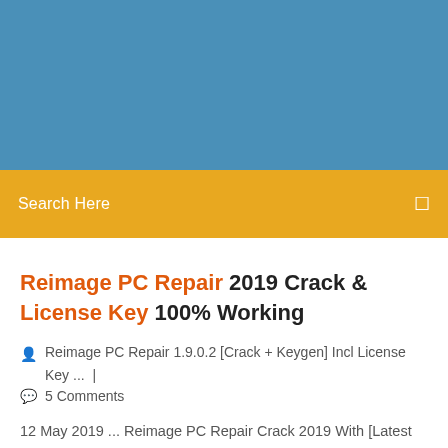[Figure (other): Blue banner/header background area]
Search Here
Reimage PC Repair 2019 Crack & License Key 100% Working
Reimage PC Repair 1.9.0.2 [Crack + Keygen] Incl License Key ... |
5 Comments
12 May 2019 ... Reimage PC Repair Crack 2019 With [Latest